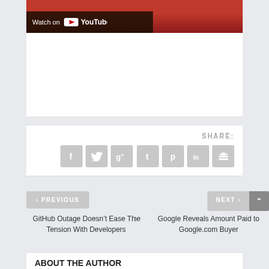[Figure (screenshot): YouTube video thumbnail with dark overlay bar reading 'Watch on YouTube' with YouTube play button icon]
SHARE:
[Figure (infographic): Social share icons: Facebook (f), Twitter (bird), Google+ (g+), Tumblr (t), Pinterest (p), LinkedIn (in), Buffer (layers)]
< PREVIOUS
NEXT >
GitHub Outage Doesn’t Ease The Tension With Developers
Google Reveals Amount Paid to Google.com Buyer
ABOUT THE AUTHOR